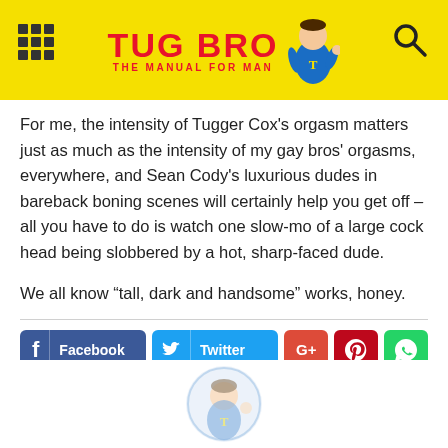TUG BRO - THE MANUAL FOR MAN
For me, the intensity of Tugger Cox's orgasm matters just as much as the intensity of my gay bros' orgasms, everywhere, and Sean Cody's luxurious dudes in bareback boning scenes will certainly help you get off – all you have to do is watch one slow-mo of a large cock head being slobbered by a hot, sharp-faced dude.
We all know “tall, dark and handsome” works, honey.
[Figure (infographic): Social sharing buttons row: Facebook, Twitter, Google+, Pinterest, WhatsApp, and a Tweet button below.]